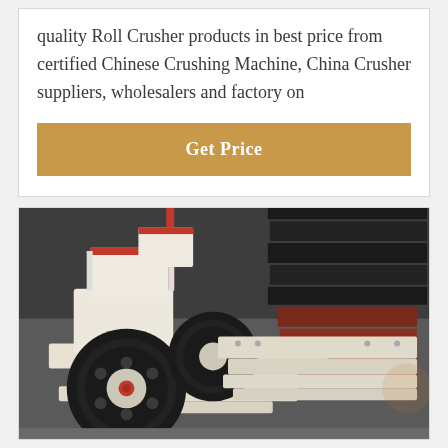quality Roll Crusher products in best price from certified Chinese Crushing Machine, China Crusher suppliers, wholesalers and factory on
[Figure (other): A gold/tan colored button with white bold text reading 'Get Price']
[Figure (photo): A photograph of a white industrial roll crusher machine with large black rubber wheels/pulleys, red-trimmed feed hopper on top, and white metal frame/conveyor components, sitting on a warehouse floor with black rubber mats stacked in the background]